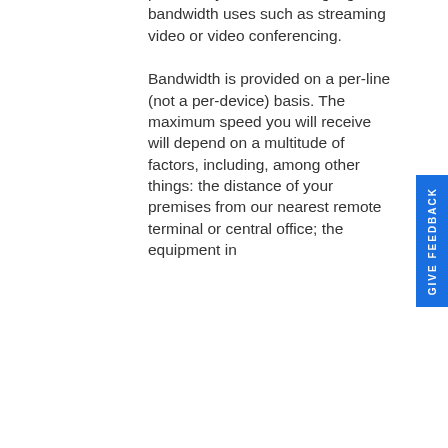particularly those involving high-bandwidth uses such as streaming video or video conferencing.
Bandwidth is provided on a per-line (not a per-device) basis. The maximum speed you will receive will depend on a multitude of factors, including, among other things: the distance of your premises from our nearest remote terminal or central office; the equipment in